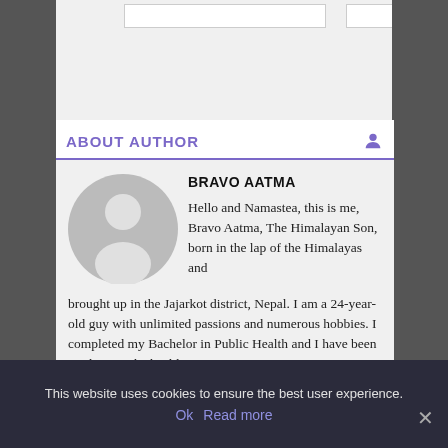ABOUT AUTHOR
[Figure (illustration): Circular gray avatar/silhouette of a person with head and shoulders]
BRAVO AATMA
Hello and Namastea, this is me, Bravo Aatma, The Himalayan Son, born in the lap of the Himalayas and brought up in the Jajarkot district, Nepal. I am a 24-year-old guy with unlimited passions and numerous hobbies. I completed my Bachelor in Public Health and I have been working in the health
This website uses cookies to ensure the best user experience.
Ok  Read more